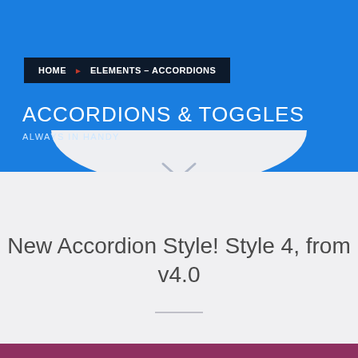HOME ▶ ELEMENTS – ACCORDIONS
ACCORDIONS & TOGGLES
ALWAYS IN HANDY
New Accordion Style! Style 4, from v4.0